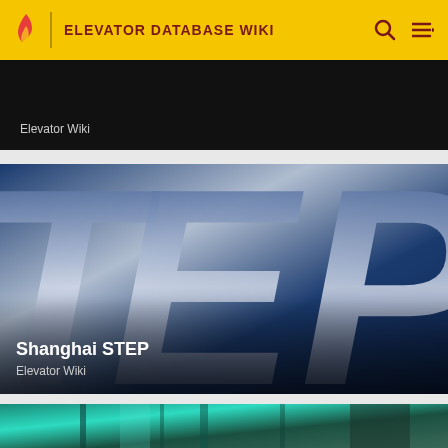ELEVATOR DATABASE WIKI
[Figure (screenshot): Top card partially visible showing dark background with 'Elevator Wiki' label]
[Figure (screenshot): Shanghai STEP article card with large italic 'TEP' letters on blue/grey gradient background, labeled 'Shanghai STEP' and 'Elevator Wiki']
[Figure (photo): Bottom card partially visible showing teal-tinted elevator shaft interior photo]